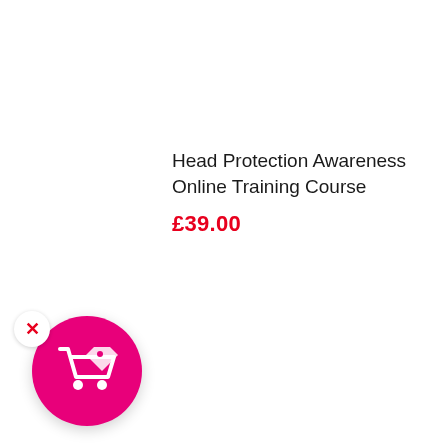Head Protection Awareness Online Training Course
£39.00
[Figure (illustration): Pink circle button with shopping cart and price tag icon in white, plus a white close (X) button overlay in top-left corner]